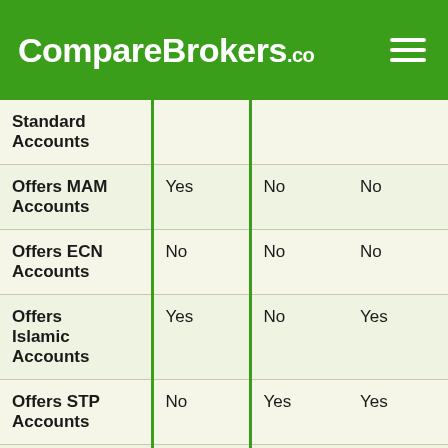CompareBrokers.co
|  |  |  |  |
| --- | --- | --- | --- |
| Standard Accounts |  |  |  |
| Offers MAM Accounts | Yes | No | No |
| Offers ECN Accounts | No | No | No |
| Offers Islamic Accounts | Yes | No | Yes |
| Offers STP Accounts | No | Yes | Yes |
| Offers Managed Accounts | No | No | No |